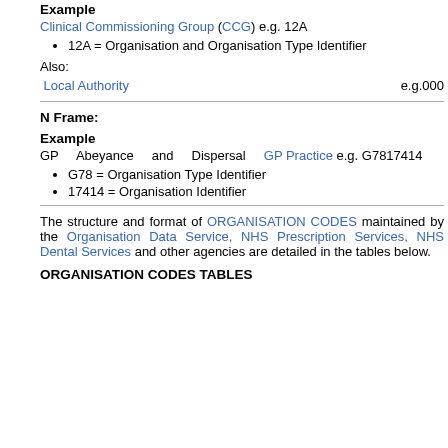Example
Clinical Commissioning Group (CCG) e.g. 12A
12A = Organisation and Organisation Type Identifier
Also:
Local Authority   e.g.000
N Frame:
Example
GP Abeyance and Dispersal GP Practice e.g. G7817414
G78 = Organisation Type Identifier
17414 = Organisation Identifier
The structure and format of ORGANISATION CODES maintained by the Organisation Data Service, NHS Prescription Services, NHS Dental Services and other agencies are detailed in the tables below.
ORGANISATION CODES TABLES